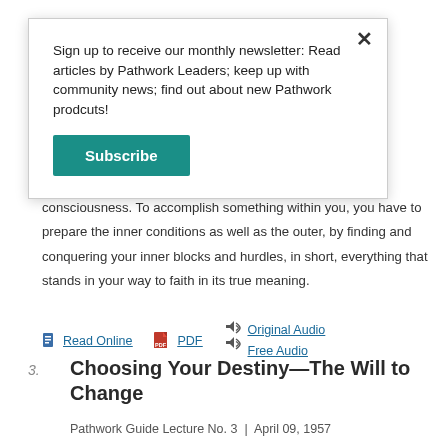Sign up to receive our monthly newsletter: Read articles by Pathwork Leaders; keep up with community news; find out about new Pathwork prodcuts!
Subscribe
dealing here with the entirely different levels of consciousness. To accomplish something within you, you have to prepare the inner conditions as well as the outer, by finding and conquering your inner blocks and hurdles, in short, everything that stands in your way to faith in its true meaning.
Read Online  PDF  Original Audio  Free Audio
3. Choosing Your Destiny—The Will to Change
Pathwork Guide Lecture No. 3  |  April 09, 1957